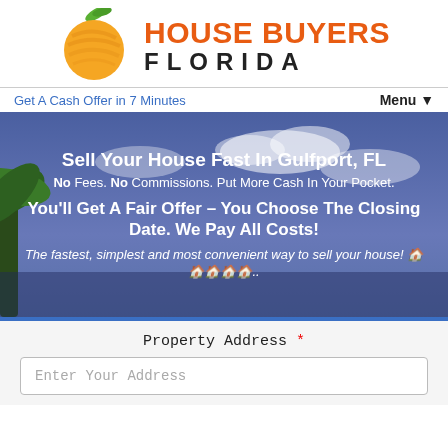[Figure (logo): House Buyers Florida logo with orange circular fruit icon and green leaf, orange bold text 'HOUSE BUYERS' and black spaced text 'FLORIDA']
Get A Cash Offer in 7 Minutes
Menu ▼
Sell Your House Fast In Gulfport, FL
No Fees. No Commissions. Put More Cash In Your Pocket.
You'll Get A Fair Offer – You Choose The Closing Date. We Pay All Costs!
The fastest, simplest and most convenient way to sell your house! 🏠🏠🏠🏠🏠..
Property Address *
Enter Your Address